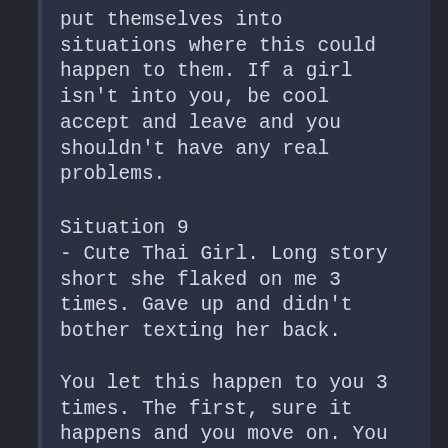put themselves into situations where this could happen to them. If a girl isn't into you, be cool accept and leave and you shouldn't have any real problems.
Situation 9
- Cute Thai Girl. Long story short she flaked on me 3 times. Gave up and didn't bother texting her back.
You let this happen to you 3 times. The first, sure it happens and you move on. You gave her 3 opportunities to waste your time because you have no self respect and are too needy. People flake so often that its not even worth including in your post above, this